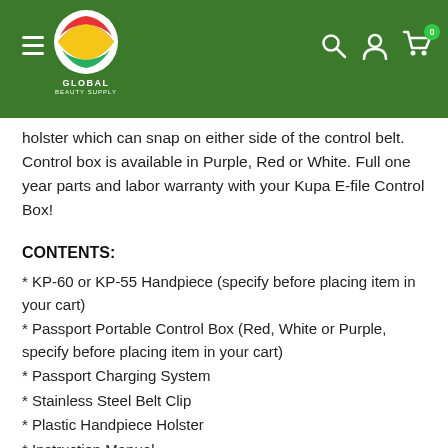Global Beauty Supply header with logo, menu, search, account, and cart icons
holster which can snap on either side of the control belt. Control box is available in Purple, Red or White. Full one year parts and labor warranty with your Kupa E-file Control Box!
CONTENTS:
* KP-60 or KP-55 Handpiece (specify before placing item in your cart)
* Passport Portable Control Box (Red, White or Purple, specify before placing item in your cart)
* Passport Charging System
* Stainless Steel Belt Clip
* Plastic Handpiece Holster
* Instruction Manual